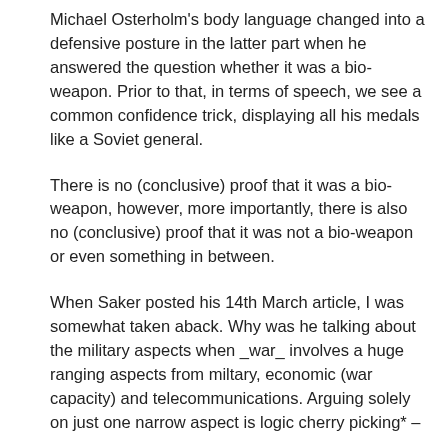Michael Osterholm's body language changed into a defensive posture in the latter part when he answered the question whether it was a bio-weapon. Prior to that, in terms of speech, we see a common confidence trick, displaying all his medals like a Soviet general.
There is no (conclusive) proof that it was a bio-weapon, however, more importantly, there is also no (conclusive) proof that it was not a bio-weapon or even something in between.
When Saker posted his 14th March article, I was somewhat taken aback. Why was he talking about the military aspects when _war_ involves a huge ranging aspects from miltary, economic (war capacity) and telecommunications. Arguing solely on just one narrow aspect is logic cherry picking* – ultimately pointless and a wasteful exercise.
There is such a thing called a scorched earth tactic. When an empire sees itself weakening and dying, it may choose to bring everyone down with itself .. or at least attempt to. If the dollar is to weaken, it will try to bring everyone down as well. You end up with the same net difference.